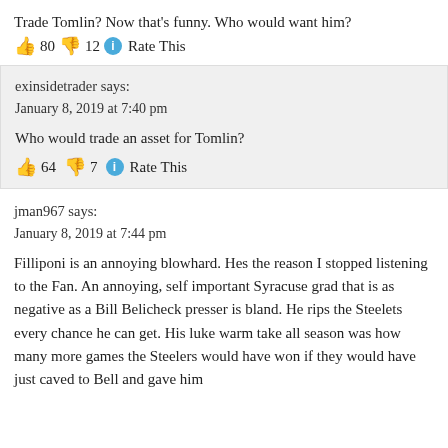Trade Tomlin? Now that’s funny. Who would want him?
👍 80 👎 12 ℹ Rate This
exinsidetrader says:
January 8, 2019 at 7:40 pm
Who would trade an asset for Tomlin?
👍 64 👎 7 ℹ Rate This
jman967 says:
January 8, 2019 at 7:44 pm
Filliponi is an annoying blowhard. Hes the reason I stopped listening to the Fan. An annoying, self important Syracuse grad that is as negative as a Bill Belicheck presser is bland. He rips the Steelets every chance he can get. His luke warm take all season was how many more games the Steelers would have won if they would have just caved to Bell and gave him